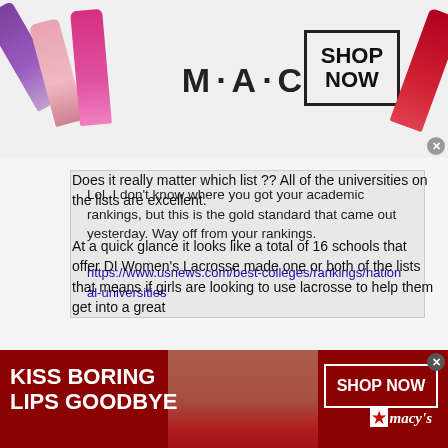[Figure (screenshot): M·A·C cosmetics advertisement banner with lipsticks and SHOP NOW button]
Lol, I don't know where you got your academic rankings, but this is the gold standard that came out yesterday. Way off from your rankings.

https://www.usnews.com/best-colleges/rankings/national-universities
Does it really matter which list ?? All of the universities on the lists are excellent.
At a quick glance it looks like a total of 16 schools that offer DI Women's Lacrosse made one or both of the lists that means if girls are looking to use lacrosse to help them get into a great
[Figure (screenshot): Macy's advertisement banner: KISS BORING LIPS GOODBYE, SHOP NOW]